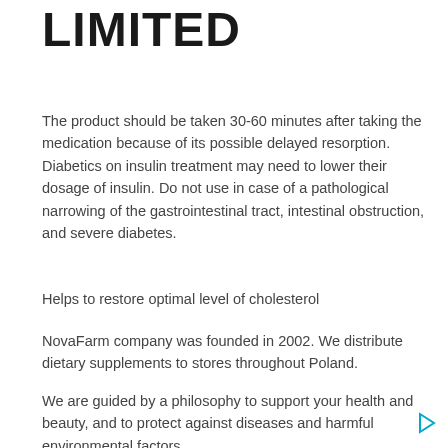LIMITED
The product should be taken 30-60 minutes after taking the medication because of its possible delayed resorption. Diabetics on insulin treatment may need to lower their dosage of insulin. Do not use in case of a pathological narrowing of the gastrointestinal tract, intestinal obstruction, and severe diabetes.
Helps to restore optimal level of cholesterol
NovaFarm company was founded in 2002. We distribute dietary supplements to stores throughout Poland.
We are guided by a philosophy to support your health and beauty, and to protect against diseases and harmful environmental factors.